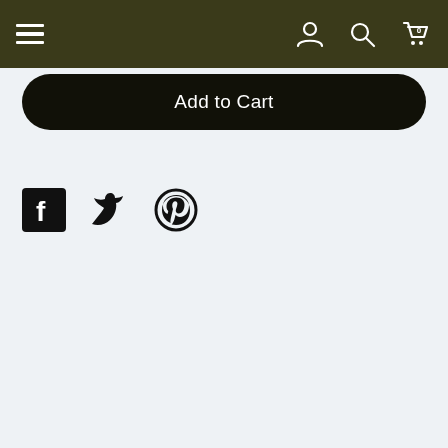Navigation bar with hamburger menu and icons for account, search, and cart (0)
Add to Cart
[Figure (illustration): Social sharing icons: Facebook, Twitter, Pinterest]
IN STOCK
Nikki Sixx, Rocks, Motley Crue, #70
Overall Condition:  8 out of 10
*All In-Stock POP!'s $39.99 and up and 4" Pre-Orders regardless of price will receive Smeye Popshields at no extra cost! You can add protectors for $1 a POP! at check out on all